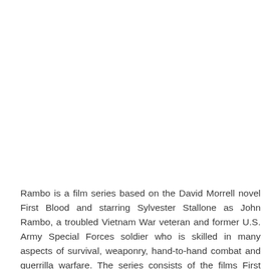Rambo is a film series based on the David Morrell novel First Blood and starring Sylvester Stallone as John Rambo, a troubled Vietnam War veteran and former U.S. Army Special Forces soldier who is skilled in many aspects of survival, weaponry, hand-to-hand combat and guerrilla warfare. The series consists of the films First Blood (1982),